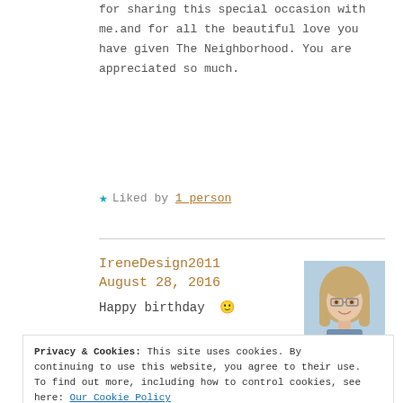for sharing this special occasion with me.and for all the beautiful love you have given The Neighborhood. You are appreciated so much.
★ Liked by 1 person
IreneDesign2011
August 28, 2016
[Figure (photo): Small avatar photo of a woman with blonde hair and glasses against a light blue background]
Happy birthday 🙂
Privacy & Cookies: This site uses cookies. By continuing to use this website, you agree to their use. To find out more, including how to control cookies, see here: Our Cookie Policy
Close and accept